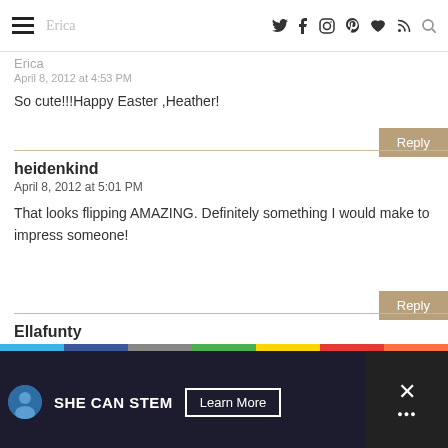Erica — navigation icons: Twitter, Facebook, Instagram, Pinterest, Bloglovin, RSS, Search
Erica
April 8, 2012 at 4:53 PM
So cute!!!Happy Easter ,Heather!
Reply
heidenkind
April 8, 2012 at 5:01 PM
That looks flipping AMAZING. Definitely something I would make to impress someone!
Reply
Ellafunty
April 8, 2012 at 5:05 PM
[Figure (screenshot): Ad banner for SHE CAN STEM campaign with Learn More button and color strip at top]
SHE CAN STEM Learn More